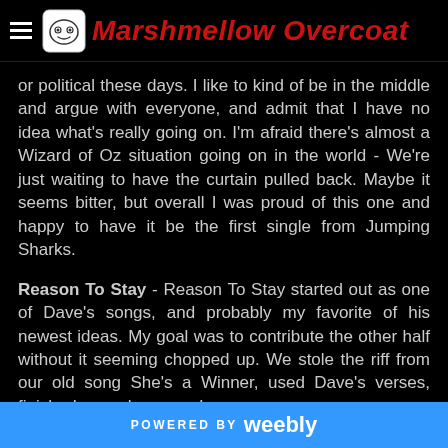Marshmellow Overcoat
or political these days.  I like to kind of be in the middle and argue with everyone, and admit that I have no idea what's really going on.  I'm afraid there's almost a Wizard of Oz situation going on in the world - We're just waiting to have the curtain pulled back.  Maybe it seems bitter, but overall I was proud of this one and happy to have it be the first single from Jumping Sharks.
Reason To Stay - Reason To Stay started out as one of Dave's songs, and probably my favorite of his newest ideas.  My goal was to contribute the other half without it seeming chopped up.  We stole the riff from our old song She's a Winner, used Dave's verses, finished up a chorus and
POWERED BY weebly